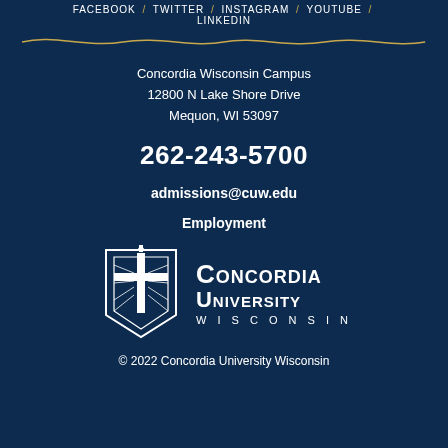FACEBOOK / TWITTER / INSTAGRAM / YOUTUBE / LINKEDIN
Concordia Wisconsin Campus
12800 N Lake Shore Drive
Mequon, WI 53097
262-243-5700
admissions@cuw.edu
Employment
[Figure (logo): Concordia University Wisconsin logo — white shield/cross emblem on left with text CONCORDIA UNIVERSITY WISCONSIN on right]
© 2022 Concordia University Wisconsin